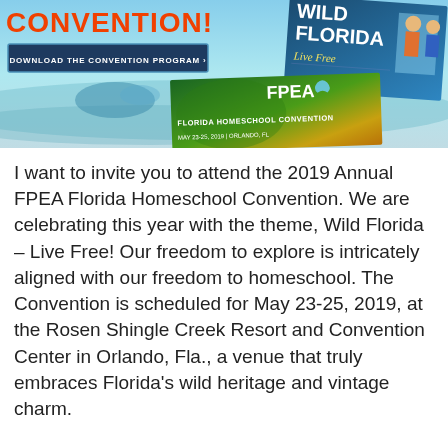[Figure (photo): FPEA Florida Homeschool Convention banner image showing beach/ocean background with 'CONVENTION!' text in orange, a dark blue 'Download the Convention Program' button, a 'Wild Florida – Live Free' card, and an FPEA Florida Homeschool Convention card with date May 23-25, 2019.]
I want to invite you to attend the 2019 Annual FPEA Florida Homeschool Convention. We are celebrating this year with the theme, Wild Florida – Live Free! Our freedom to explore is intricately aligned with our freedom to homeschool. The Convention is scheduled for May 23-25, 2019, at the Rosen Shingle Creek Resort and Convention Center in Orlando, Fla., a venue that truly embraces Florida's wild heritage and vintage charm.